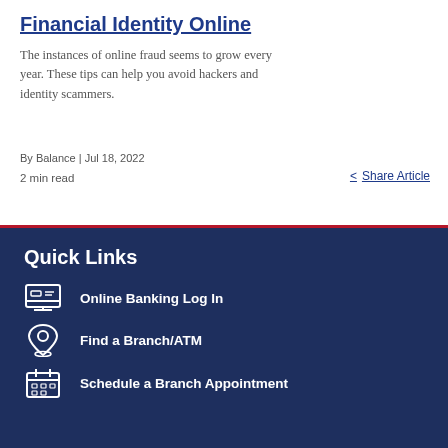Financial Identity Online
The instances of online fraud seems to grow every year. These tips can help you avoid hackers and identity scammers.
By Balance  |  Jul 18, 2022
2 min read
Share Article
Quick Links
Online Banking Log In
Find a Branch/ATM
Schedule a Branch Appointment